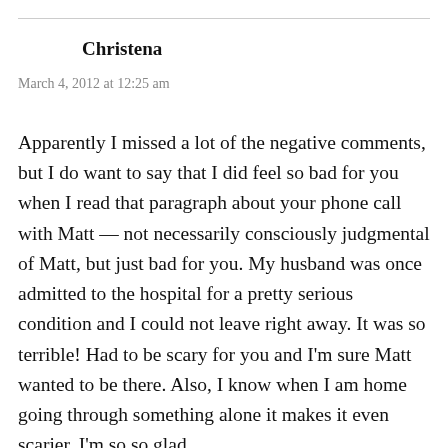Christena
March 4, 2012 at 12:25 am
Apparently I missed a lot of the negative comments, but I do want to say that I did feel so bad for you when I read that paragraph about your phone call with Matt — not necessarily consciously judgmental of Matt, but just bad for you. My husband was once admitted to the hospital for a pretty serious condition and I could not leave right away. It was so terrible! Had to be scary for you and I'm sure Matt wanted to be there. Also, I know when I am home going through something alone it makes it even scarier. I'm so so glad